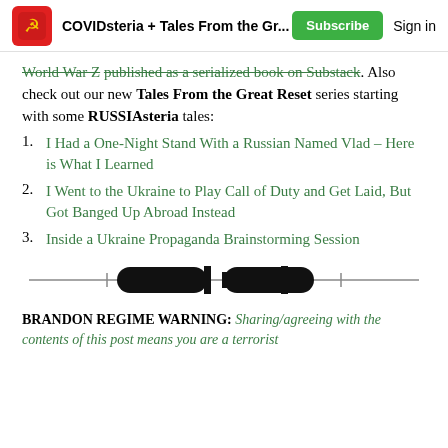COVIDsteria + Tales From the Gr...  Subscribe  Sign in
World War Z published as a serialized book on Substack. Also check out our new Tales From the Great Reset series starting with some RUSSIAsteria tales:
1. I Had a One-Night Stand With a Russian Named Vlad – Here is What I Learned
2. I Went to the Ukraine to Play Call of Duty and Get Laid, But Got Banged Up Abroad Instead
3. Inside a Ukraine Propaganda Brainstorming Session
[Figure (illustration): Decorative horizontal divider with two dumbbell/bone-shaped black symbols on a horizontal line with tick marks]
BRANDON REGIME WARNING: Sharing/agreeing with the contents of this post means you are a terrorist